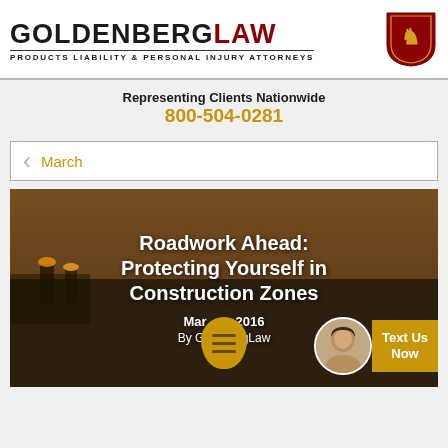[Figure (logo): Goldenberg Law logo with shield crest — Products Liability & Personal Injury Attorneys]
Representing Clients Nationwide
800-504-0281
< March
[Figure (photo): Construction zone road work scene with workers in orange vests and heavy machinery, warm sunset tones]
Roadwork Ahead: Protecting Yourself in Construction Zones
March 2016
By GoldenbergLaw